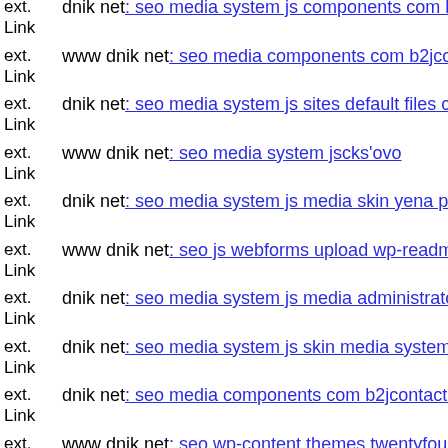ext. Link dnik net: seo media system js components com b2jcontact com...
ext. Link www dnik net: seo media components com b2jcontact wp-cont...
ext. Link dnik net: seo media system js sites default files components co...
ext. Link www dnik net: seo media system jscks'ovo
ext. Link dnik net: seo media system js media skin yena php
ext. Link www dnik net: seo js webforms upload wp-readme php
ext. Link dnik net: seo media system js media administrator components...
ext. Link dnik net: seo media system js skin media system js config php
ext. Link dnik net: seo media components com b2jcontact tmp unix php
ext. Link www dnik net: seo wp-content themes twentyfourteen core co...
ext. Link mail dnik net: seo
ext. Link mail inkompetent de: links wp-content themes parallax mail in...